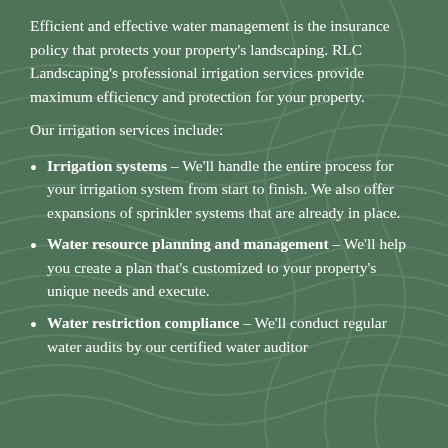Efficient and effective water management is the insurance policy that protects your property's landscaping. RLC Landscaping's professional irrigation services provide maximum efficiency and protection for your property.
Our irrigation services include:
Irrigation systems – We'll handle the entire process for your irrigation system from start to finish. We also offer expansions of sprinkler systems that are already in place.
Water resource planning and management – We'll help you create a plan that's customized to your property's unique needs and execute.
Water restriction compliance – We'll conduct regular water audits by our certified water auditor